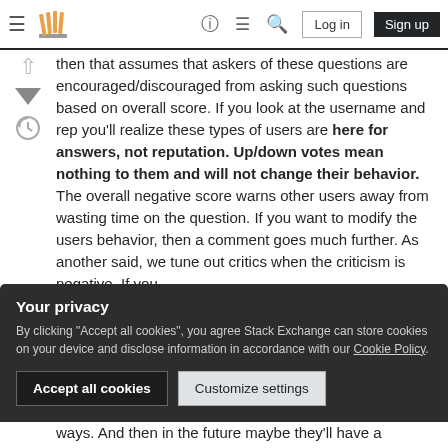Stack Exchange navigation bar with hamburger menu, logo, help, chat, search icons, Log in and Sign up buttons
then that assumes that askers of these questions are encouraged/discouraged from asking such questions based on overall score. If you look at the username and rep you'll realize these types of users are here for answers, not reputation. Up/down votes mean nothing to them and will not change their behavior. The overall negative score warns other users away from wasting time on the question. If you want to modify the users behavior, then a comment goes much further. As another said, we tune out critics when the criticism is negative. If you
Your privacy
By clicking "Accept all cookies", you agree Stack Exchange can store cookies on your device and disclose information in accordance with our Cookie Policy.
Accept all cookies
Customize settings
ways. And then in the future maybe they'll have a